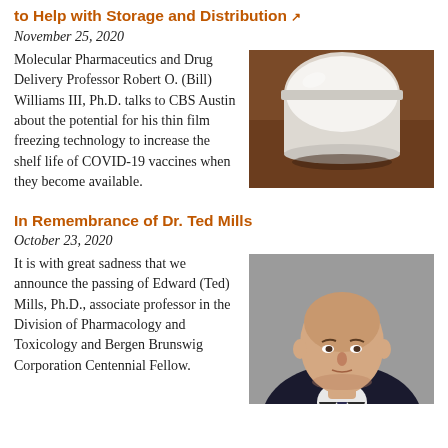to Help with Storage and Distribution ↗
November 25, 2020
[Figure (photo): A glass jar containing white powder on a wooden surface, likely a lyophilized/freeze-dried pharmaceutical substance]
Molecular Pharmaceutics and Drug Delivery Professor Robert O. (Bill) Williams III, Ph.D. talks to CBS Austin about the potential for his thin film freezing technology to increase the shelf life of COVID-19 vaccines when they become available.
In Remembrance of Dr. Ted Mills
October 23, 2020
[Figure (photo): Headshot portrait of Edward (Ted) Mills, Ph.D. — a bald man in a suit and white shirt against a grey background]
It is with great sadness that we announce the passing of Edward (Ted) Mills, Ph.D., associate professor in the Division of Pharmacology and Toxicology and Bergen Brunswig Corporation Centennial Fellow.